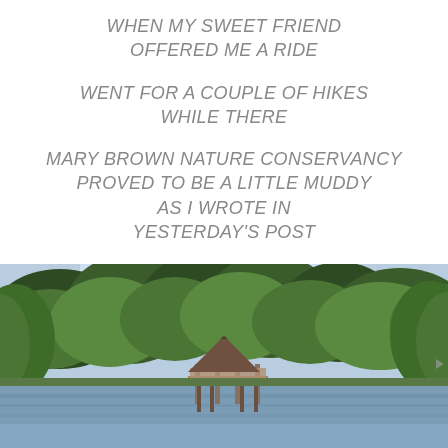WHEN MY SWEET FRIEND OFFERED ME A RIDE
WENT FOR A COUPLE OF HIKES WHILE THERE
MARY BROWN NATURE CONSERVANCY PROVED TO BE A LITTLE MUDDY AS I WROTE IN YESTERDAY'S POST
[Figure (photo): Outdoor nature scene showing a gazebo or covered dock structure on a pond or lake, surrounded by dense green trees and sky in the background.]